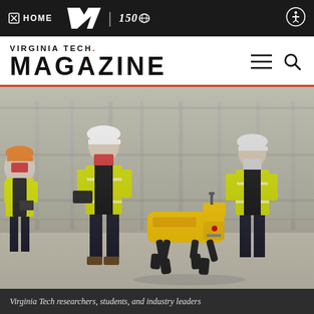HOME | Virginia Tech | 150 [anniversary logo]
VIRGINIA TECH. MAGAZINE
[Figure (photo): Construction workers in yellow safety vests and hard hats with face masks stand in an unfinished building interior with metal stud framing walls. A yellow Boston Dynamics Spot robot dog walks in the foreground on a concrete floor.]
Virginia Tech researchers, students, and industry leaders